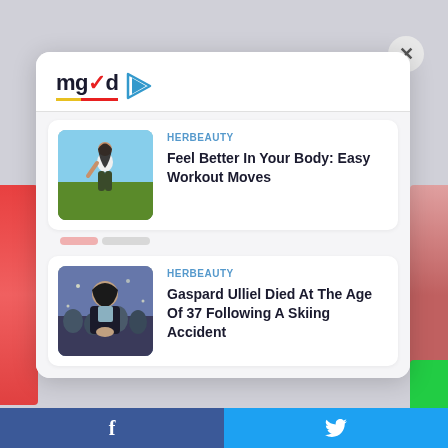[Figure (logo): MGID logo with play button icon]
HERBEAUTY
Feel Better In Your Body: Easy Workout Moves
HERBEAUTY
Gaspard Ulliel Died At The Age Of 37 Following A Skiing Accident
Facebook share | Twitter share